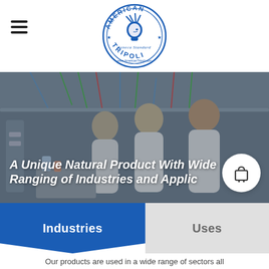[Figure (logo): American Tripoli circular logo in blue with Native American chief illustration and 'Seneca Standard' text]
[Figure (photo): Laboratory scene showing scientists/researchers in white lab coats working with equipment and cables]
A Unique Natural Product With Wide Ranging of Industries and Applications
Industries
Uses
Our products are used in a wide range of sectors all